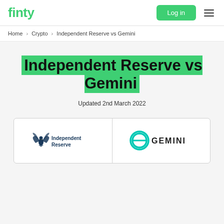finty | Log in
Home > Crypto > Independent Reserve vs Gemini
Independent Reserve vs Gemini
Updated 2nd March 2022
[Figure (logo): Two-panel comparison box: left panel shows Independent Reserve logo (eagle with wings and text 'Independent Reserve'), right panel shows Gemini logo (teal circular icon and 'GEMINI' text in dark)]